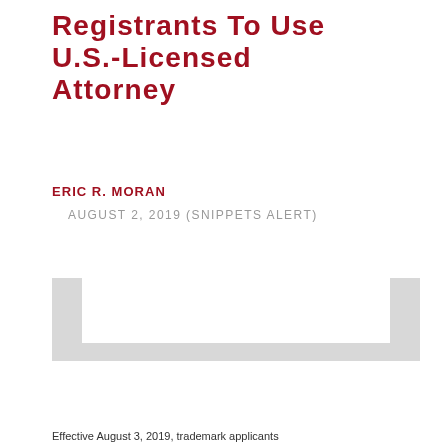Registrants To Use U.S.-Licensed Attorney
ERIC R. MORAN
AUGUST 2, 2019 (SNIPPETS ALERT)
[Figure (other): Decorative bracket/border graphic element — an open rectangular bracket shape in light gray]
Effective August 3, 2019, trademark applicants...